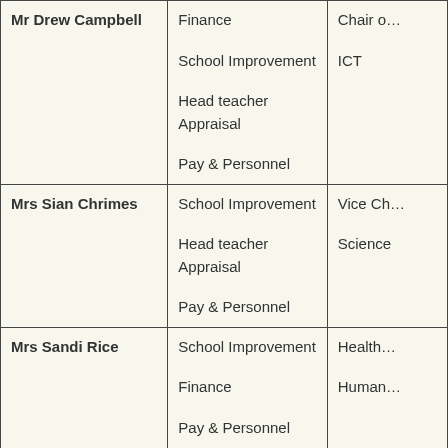| Name | Committee | Role |
| --- | --- | --- |
| Mr Drew Campbell | Finance
School Improvement
Head teacher Appraisal
Pay & Personnel | Chair o…
ICT |
| Mrs Sian Chrimes | School Improvement
Head teacher Appraisal
Pay & Personnel | Vice Ch…
Science |
| Mrs Sandi Rice | School Improvement
Finance
Pay & Personnel
Premises | Health…
Human… |